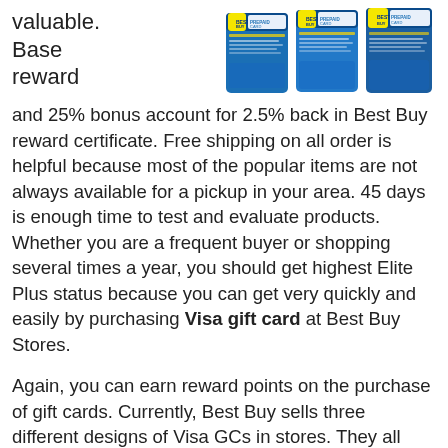[Figure (photo): Three Best Buy Visa Prepaid Card gift cards displayed side by side with blue designs]
valuable. Base reward and 25% bonus account for 2.5% back in Best Buy reward certificate. Free shipping on all order is helpful because most of the popular items are not always available for a pickup in your area. 45 days is enough time to test and evaluate products. Whether you are a frequent buyer or shopping several times a year, you should get highest Elite Plus status because you can get very quickly and easily by purchasing Visa gift card at Best Buy Stores.
Again, you can earn reward points on the purchase of gift cards. Currently, Best Buy sells three different designs of Visa GCs in stores. They all charge $5.95 purchase fee. And you can choose an amount to load between $20 and $200. If you buy one $200 Visa GC, you will earn 205 pt. which is worth $4.10. If you use a